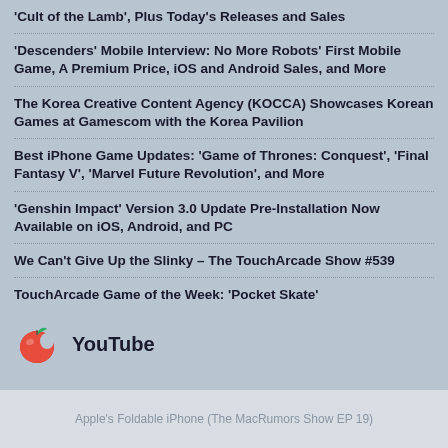'Cult of the Lamb', Plus Today's Releases and Sales
'Descenders' Mobile Interview: No More Robots' First Mobile Game, A Premium Price, iOS and Android Sales, and More
The Korea Creative Content Agency (KOCCA) Showcases Korean Games at Gamescom with the Korea Pavilion
Best iPhone Game Updates: 'Game of Thrones: Conquest', 'Final Fantasy V', 'Marvel Future Revolution', and More
'Genshin Impact' Version 3.0 Update Pre-Installation Now Available on iOS, Android, and PC
We Can't Give Up the Slinky – The TouchArcade Show #539
TouchArcade Game of the Week: 'Pocket Skate'
YouTube
Apple's Foldable iPhone (The MacRumors Show EP 19)